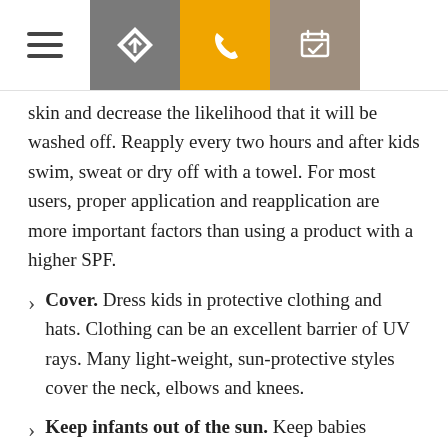[Figure (screenshot): Mobile app navigation bar with hamburger menu icon, directions icon (grey), phone icon (orange/yellow), and calendar icon (brown/taupe)]
skin and decrease the likelihood that it will be washed off. Reapply every two hours and after kids swim, sweat or dry off with a towel. For most users, proper application and reapplication are more important factors than using a product with a higher SPF.
Cover. Dress kids in protective clothing and hats. Clothing can be an excellent barrier of UV rays. Many light-weight, sun-protective styles cover the neck, elbows and knees.
Keep infants out of the sun. Keep babies younger than 6 months out of direct sunlight, dressed in cool, comfortable clothing and wearing hats with brims. The American Academy of Pediatrics (AAP) says sunscreen may be used on infants younger than 6 months on small areas of skin if adequate clothing and shade are